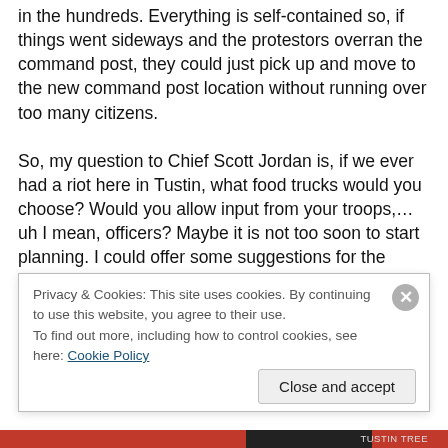in the hundreds. Everything is self-contained so, if things went sideways and the protestors overran the command post, they could just pick up and move to the new command post location without running over too many citizens.

So, my question to Chief Scott Jordan is, if we ever had a riot here in Tustin, what food trucks would you choose? Would you allow input from your troops,…uh I mean, officers? Maybe it is not too soon to start planning. I could offer some suggestions for the Tustin Police Incident Plan. I am completely qualified having eaten both donuts and
Privacy & Cookies: This site uses cookies. By continuing to use this website, you agree to their use.
To find out more, including how to control cookies, see here: Cookie Policy
Close and accept